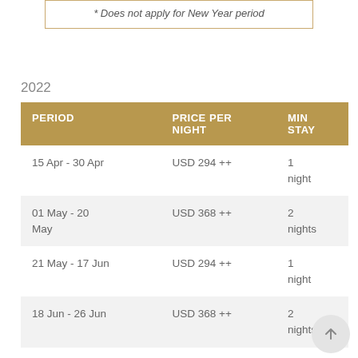* Does not apply for New Year period
2022
| PERIOD | PRICE PER NIGHT | MIN STAY |
| --- | --- | --- |
| 15 Apr - 30 Apr | USD 294 ++ | 1 night |
| 01 May - 20 May | USD 368 ++ | 2 nights |
| 21 May - 17 Jun | USD 294 ++ | 1 night |
| 18 Jun - 26 Jun | USD 368 ++ | 2 nights |
| 27 Jun - 22 Aug | USD 420 ++ | 3 |